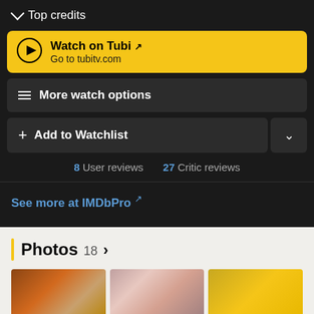Top credits
Watch on Tubi ↗
Go to tubitv.com
More watch options
+ Add to Watchlist
8 User reviews  27 Critic reviews
See more at IMDbPro ↗
Photos 18 >
[Figure (photo): Three thumbnail photos in a horizontal row]
[Figure (photo): Second thumbnail photo]
[Figure (photo): Third thumbnail photo (partial, gold/yellow toned)]